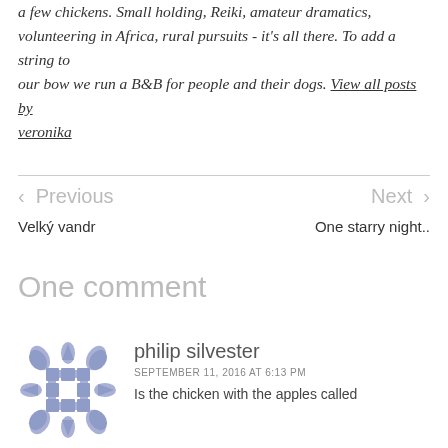a few chickens. Small holding, Reiki, amateur dramatics, volunteering in Africa, rural pursuits - it's all there. To add a string to our bow we run a B&B for people and their dogs. View all posts by veronika
< Previous    Velký vandr
Next >    One starry night..
One comment
philip silvester
SEPTEMBER 11, 2016 AT 6:13 PM
Is the chicken with the apples called